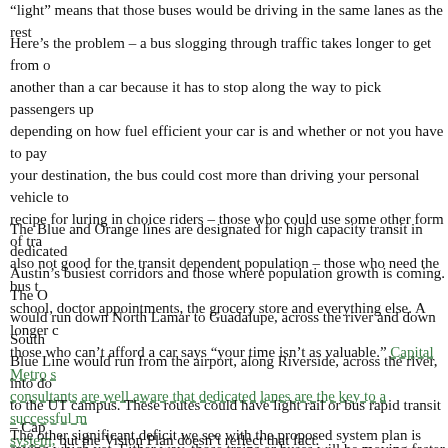“light” means that those buses would be driving in the same lanes as the rest…
Here’s the problem – a bus slogging through traffic takes longer to get from one another than a car because it has to stop along the way to pick passengers up depending on how fuel efficient your car is and whether or not you have to pay your destination, the bus could cost more than driving your personal vehicle to recipe for luring in choice riders – those who could use some other form of tra also not good for the transit dependent population – those who need the bus t school, doctor appointments, the grocery store and everything else. A longer c those who can’t afford a car says “your time isn’t as valuable.” Capital Metro s consultants are well aware that dedicated lanes are the key to a successful m system, but the Vision Plan doesn’t reflect that fact.
The Blue and Orange lines are designated for high capacity transit in dedicated Austin’s busiest corridors and those where population growth is coming. The O would run down North Lamar to Guadalupe, across the river and down South Blue Line would run from the airport, along Riverside, across the river, into do to the UT campus. These routes could have light rail or bus rapid transit – Cap saying which yet. Either way, those trains or buses will be moving faster beca be stuck in the traffic jam. Bus rapid transit is the cheaper of these options, bu move more people, so could end up being cheaper per passenger. Because li move more people, it would be better suited than bus rapid transit to serve the as Austin continues to grow.
The other significant deficit we see with the proposed system plan is high cap…